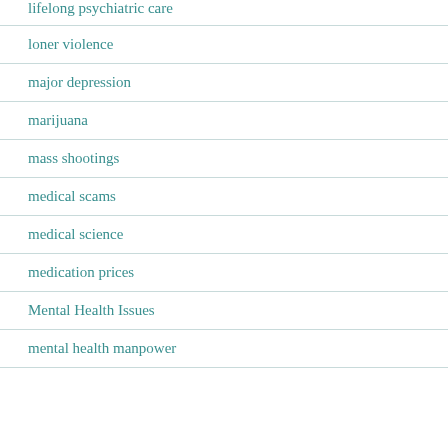lifelong psychiatric care
loner violence
major depression
marijuana
mass shootings
medical scams
medical science
medication prices
Mental Health Issues
mental health manpower